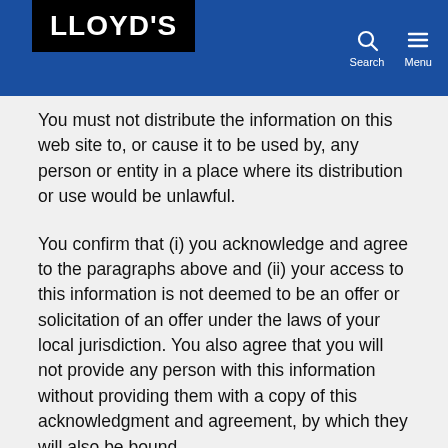LLOYD'S
You must not distribute the information on this web site to, or cause it to be used by, any person or entity in a place where its distribution or use would be unlawful.
You confirm that (i) you acknowledge and agree to the paragraphs above and (ii) your access to this information is not deemed to be an offer or solicitation of an offer under the laws of your local jurisdiction. You also agree that you will not provide any person with this information without providing them with a copy of this acknowledgment and agreement, by which they will also be bound.